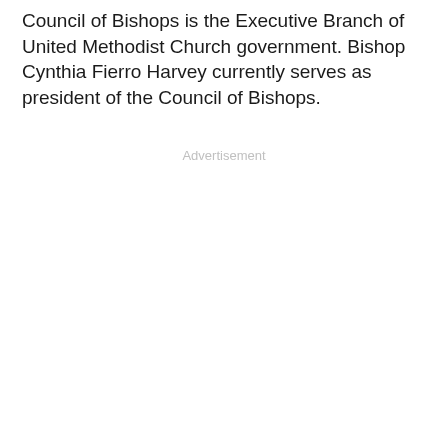Council of Bishops is the Executive Branch of United Methodist Church government. Bishop Cynthia Fierro Harvey currently serves as president of the Council of Bishops.
Advertisement